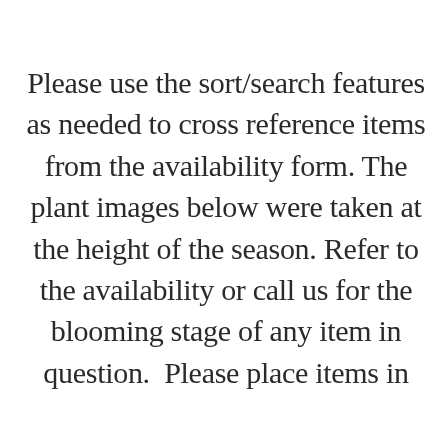Please use the sort/search features as needed to cross reference items from the availability form. The plant images below were taken at the height of the season. Refer to the availability or call us for the blooming stage of any item in question.  Please place items in